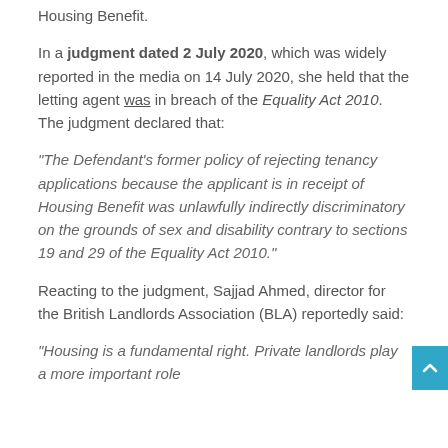Housing Benefit.
In a judgment dated 2 July 2020, which was widely reported in the media on 14 July 2020, she held that the letting agent was in breach of the Equality Act 2010. The judgment declared that:
“The Defendant’s former policy of rejecting tenancy applications because the applicant is in receipt of Housing Benefit was unlawfully indirectly discriminatory on the grounds of sex and disability contrary to sections 19 and 29 of the Equality Act 2010.”
Reacting to the judgment, Sajjad Ahmed, director for the British Landlords Association (BLA) reportedly said:
“Housing is a fundamental right. Private landlords play a more important role